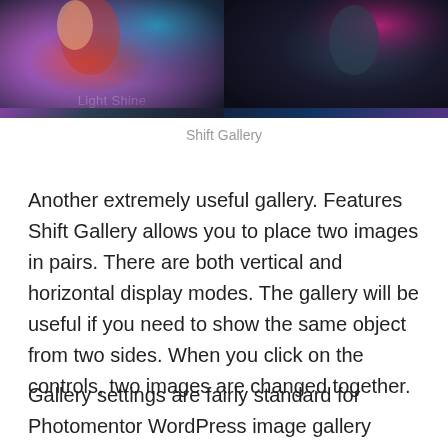[Figure (photo): Two-panel photo banner. Left panel shows a woman with red/orange hair in colorful stage lighting, labeled 'Light Shine'. Right panel shows a person in dark street setting, labeled 'Street Life'.]
Shift Gallery
Another extremely useful gallery. Features Shift Gallery allows you to place two images in pairs. There are both vertical and horizontal display modes. The gallery will be useful if you need to show the same object from two sides. When you click on the controls, two images are changed together.
Gallery settings are fairly standard for Photomentor WordPress image gallery plugin. You can also